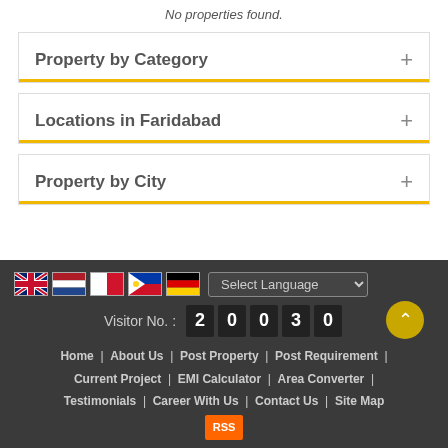No properties found.
Property by Category +
Locations in Faridabad +
Property by City +
Visitor No.: 2 0 0 3 0 | Home | About Us | Post Property | Post Requirement | Current Project | EMI Calculator | Area Converter | Testimonials | Career With Us | Contact Us | Site Map | RSS